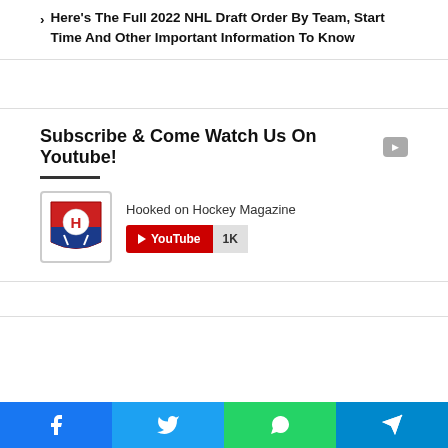Here's The Full 2022 NHL Draft Order By Team, Start Time And Other Important Information To Know
Subscribe & Come Watch Us On Youtube!
[Figure (other): YouTube channel widget for Hooked on Hockey Magazine with red Subscribe button and 1K subscriber count]
[Figure (screenshot): Broken image placeholder on left; video popup overlay showing 'Avalanche's Newhook thrilled to bring S...' with a person wearing a white baseball cap outdoors, mute button visible, close X button]
[Figure (other): Social share bar at bottom with Facebook, Twitter, WhatsApp, and Telegram icons]